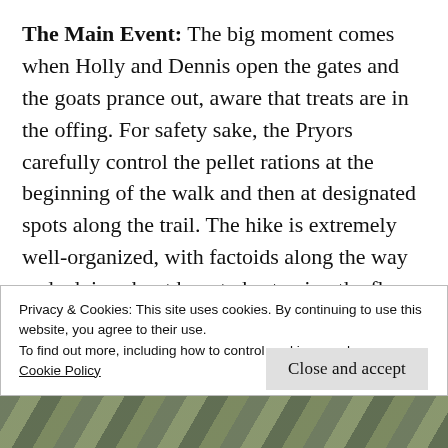The Main Event: The big moment comes when Holly and Dennis open the gates and the goats prance out, aware that treats are in the offing. For safety sake, the Pryors carefully control the pellet rations at the beginning of the walk and then at designated spots along the trail. The hike is extremely well-organized, with factoids along the way and advice about how to best enjoy the flora and fauna and the pretty vistas from an observation deck that Dennis built. “We love sharing the farm with others. When we take people out on the goat walks they have so much fun and are so surprised
Privacy & Cookies: This site uses cookies. By continuing to use this website, you agree to their use.
To find out more, including how to control cookies, see here:
Cookie Policy
Close and accept
[Figure (photo): A strip of an outdoor nature/forest photograph visible at the bottom of the page]